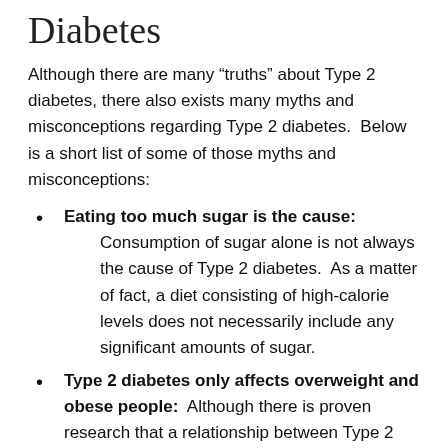Diabetes
Although there are many “truths” about Type 2 diabetes, there also exists many myths and misconceptions regarding Type 2 diabetes.  Below is a short list of some of those myths and misconceptions:
Eating too much sugar is the cause: Consumption of sugar alone is not always the cause of Type 2 diabetes.  As a matter of fact, a diet consisting of high-calorie levels does not necessarily include any significant amounts of sugar.
Type 2 diabetes only affects overweight and obese people: Although there is proven research that a relationship between Type 2...